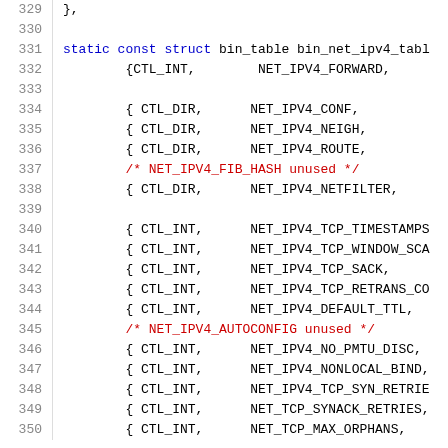[Figure (screenshot): Source code snippet showing C code with line numbers 329-350, defining a static const struct bin_table bin_net_ipv4_table with CTL_INT and CTL_DIR entries for various NET_IPV4 constants, including comments for unused entries.]